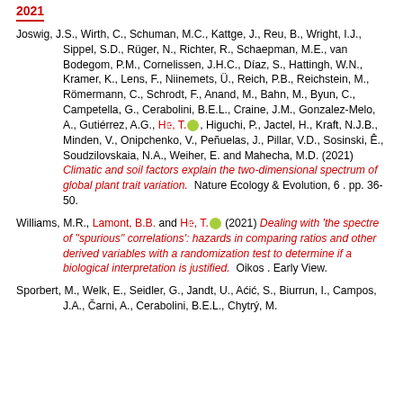2021
Joswig, J.S., Wirth, C., Schuman, M.C., Kattge, J., Reu, B., Wright, I.J., Sippel, S.D., Rüger, N., Richter, R., Schaepman, M.E., van Bodegom, P.M., Cornelissen, J.H.C., Díaz, S., Hattingh, W.N., Kramer, K., Lens, F., Niinemets, Ü., Reich, P.B., Reichstein, M., Römermann, C., Schrodt, F., Anand, M., Bahn, M., Byun, C., Campetella, G., Cerabolini, B.E.L., Craine, J.M., Gonzalez-Melo, A., Gutiérrez, A.G., He, T. [ORCID], Higuchi, P., Jactel, H., Kraft, N.J.B., Minden, V., Onipchenko, V., Peñuelas, J., Pillar, V.D., Sosinski, Ê., Soudzilovskaia, N.A., Weiher, E. and Mahecha, M.D. (2021) Climatic and soil factors explain the two-dimensional spectrum of global plant trait variation. Nature Ecology & Evolution, 6 . pp. 36-50.
Williams, M.R., Lamont, B.B. and He, T. [ORCID] (2021) Dealing with 'the spectre of "spurious" correlations': hazards in comparing ratios and other derived variables with a randomization test to determine if a biological interpretation is justified. Oikos . Early View.
Sporbert, M., Welk, E., Seidler, G., Jandt, U., Aćić, S., Biurrun, I., Campos, J.A., Čarni, A., Cerabolini, B.E.L., Chytrý, M.